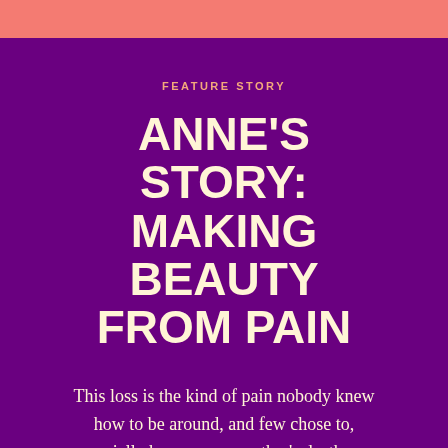FEATURE STORY
ANNE'S STORY: MAKING BEAUTY FROM PAIN
This loss is the kind of pain nobody knew how to be around, and few chose to, especially because my mother's death was taboo. She died by suicide, and as a mother of young children this was an act so unusual and so misunderstood.
READ MORE